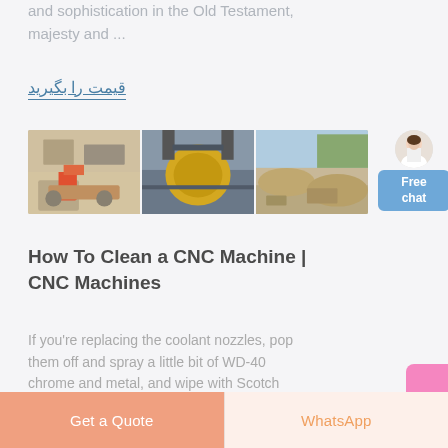and sophistication in the Old Testament, majesty and ...
قیمت را بگیرید
[Figure (photo): Three industrial/mining equipment photos side by side: left shows construction/mining machinery, center shows large yellow industrial drum/crusher equipment, right shows quarry/mining site with rocks and greenery in background.]
[Figure (illustration): Customer service avatar figure (woman) with Free chat button in blue]
How To Clean a CNC Machine | CNC Machines
If you're replacing the coolant nozzles, pop them off and spray a little bit of WD-40 chrome and metal, and wipe with Scotch
Get a Quote
WhatsApp